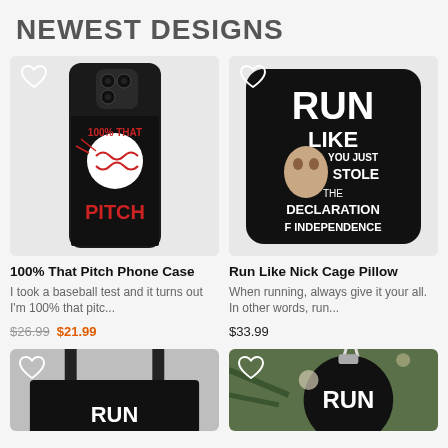NEWEST DESIGNS
[Figure (photo): Phone case with baseball design reading '100% THAT PITCH' in red text on black background]
[Figure (photo): Black pillow with Nicolas Cage meme text reading 'RUN LIKE YOU JUST STOLE THE DECLARATION F INDEPENDENCE']
100% That Pitch Phone Case
Run Like Nick Cage Pillow
I took a baseball test and it turns out I'm 100% that pitc...
When running, always give it your all. In other words, run...
$26.99 $21.99
$33.99
[Figure (photo): Black tote bag with white RUN text, partially visible at bottom]
[Figure (photo): Black ornament with RUN text on Christmas tree, partially visible at bottom]